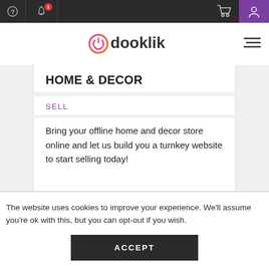dooklik navigation bar with help, notification (1), cart, and profile icons
HOME & DECOR
SELL
Bring your offline home and decor store online and let us build you a turnkey website to start selling today!
The website uses cookies to improve your experience. We'll assume you're ok with this, but you can opt-out if you wish.
ACCEPT